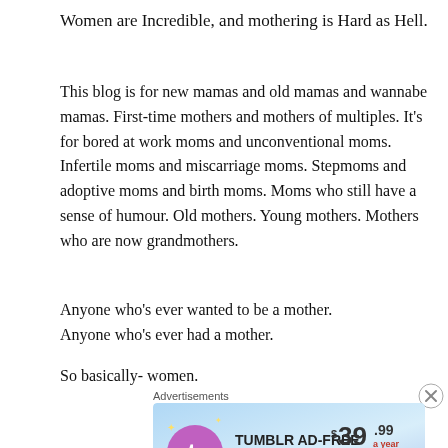Women are Incredible, and mothering is Hard as Hell.
This blog is for new mamas and old mamas and wannabe mamas. First-time mothers and mothers of multiples. It's for bored at work moms and unconventional moms. Infertile moms and miscarriage moms. Stepmoms and adoptive moms and birth moms. Moms who still have a sense of humour. Old mothers. Young mothers. Mothers who are now grandmothers.
Anyone who’s ever wanted to be a mother.
Anyone who’s ever had a mother.
So basically- women.
Advertisements
[Figure (other): Tumblr Ad-Free Browsing advertisement banner showing $39.99 a year or $4.99 a month with Tumblr logo]